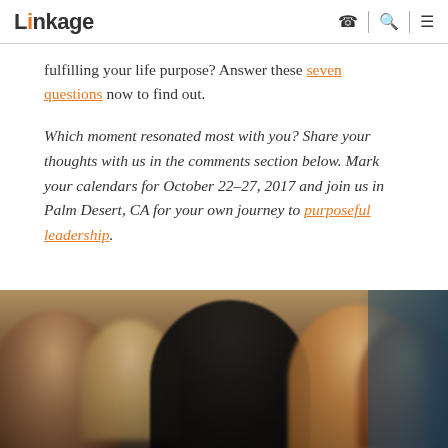Linkage
fulfilling your life purpose? Answer these seven questions now to find out.
Which moment resonated most with you? Share your thoughts with us in the comments section below. Mark your calendars for October 22–27, 2017 and join us in Palm Desert, CA for your own journey to purposeful leadership.
[Figure (photo): Blurred crowd of people at an event or conference, photographed from behind/side angle, showing attendees with dark and light hair.]